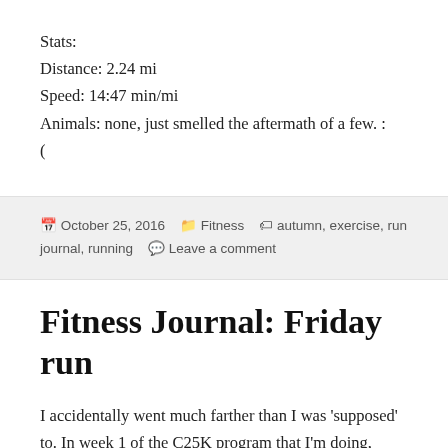Stats:
Distance: 2.24 mi
Speed: 14:47 min/mi
Animals: none, just smelled the aftermath of a few. :(
October 25, 2016   Fitness   autumn, exercise, run journal, running   Leave a comment
Fitness Journal: Friday run
I accidentally went much farther than I was 'supposed' to. In week 1 of the C25K program that I'm doing, there are 8 intervals + warmup/cooldown, but in week 2, there are only 6 intervals, so I ran the first few mins of my cooldown. It worked out